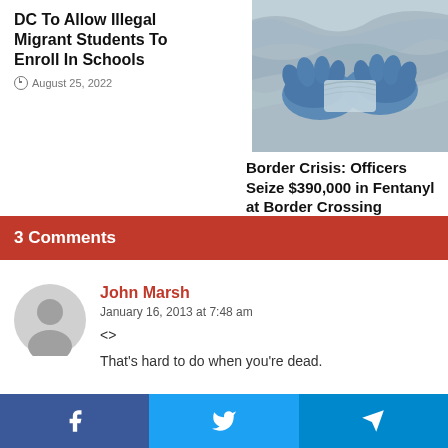DC To Allow Illegal Migrant Students To Enroll In Schools
August 25, 2022
[Figure (photo): Blue-gloved hands handling silver/foil material, likely drug seizure photo]
Border Crisis: Officers Seize $390,000 in Fentanyl at Border Crossing
August 25, 2022
3 Comments
John Marsh
January 16, 2013 at 7:48 am
<>
That's hard to do when you're dead.
[Figure (infographic): Social share buttons: Facebook, Twitter, Telegram]